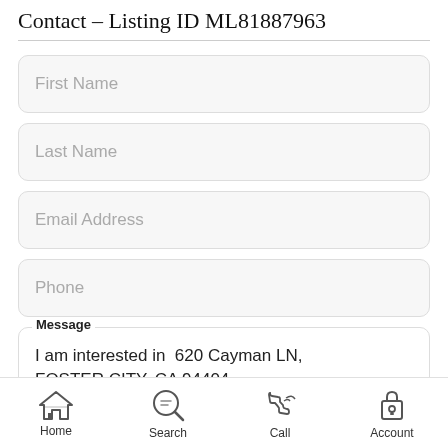Contact – Listing ID ML81887963
First Name
Last Name
Email Address
Phone
Message
I am interested in  620 Cayman LN, FOSTER CITY, CA 94404
Home   Search   Call   Account